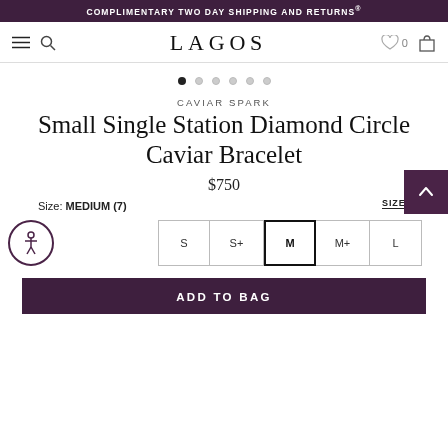COMPLIMENTARY TWO DAY SHIPPING AND RETURNS®
LAGOS
[Figure (other): Navigation dots carousel indicator with 6 dots, first one filled/active]
CAVIAR SPARK
Small Single Station Diamond Circle Caviar Bracelet
$750
Size: MEDIUM (7)
SIZE GUIDE
S  S+  M  M+  L
ADD TO BAG